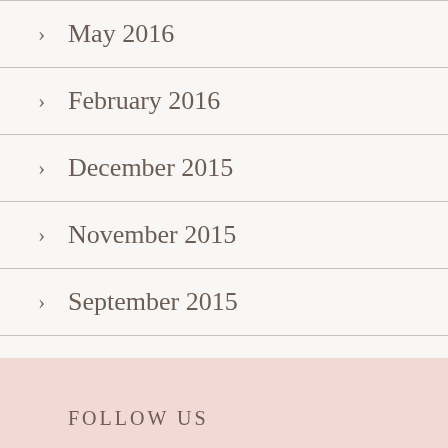May 2016
February 2016
December 2015
November 2015
September 2015
August 2015
FOLLOW US